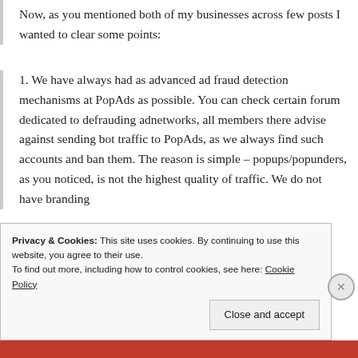Now, as you mentioned both of my businesses across few posts I wanted to clear some points:
1. We have always had as advanced ad fraud detection mechanisms at PopAds as possible. You can check certain forum dedicated to defrauding adnetworks, all members there advise against sending bot traffic to PopAds, as we always find such accounts and ban them. The reason is simple – popups/popunders, as you noticed, is not the highest quality of traffic. We do not have branding advertisers like Youtube, Tv networks, they would...
Privacy & Cookies: This site uses cookies. By continuing to use this website, you agree to their use.
To find out more, including how to control cookies, see here: Cookie Policy
Close and accept